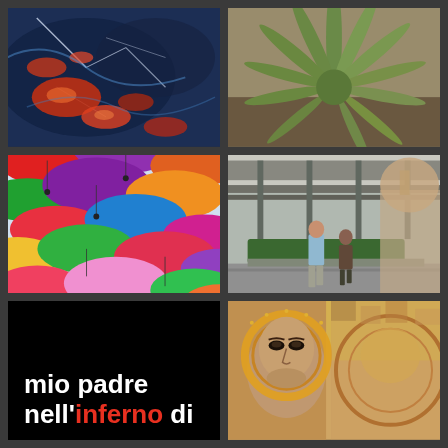[Figure (photo): Abstract macro photo of minerals or rock with orange/red crystalline formations on dark blue background with white cracks]
[Figure (photo): Photo of an aloe or agave plant with spiky green leaves shot from above]
[Figure (photo): Photo of many colorful umbrellas hanging overhead viewed from below — red, purple, orange, green, pink, yellow]
[Figure (photo): Street photo of people in front of a modern building, one man walking toward camera in light blue shirt]
[Figure (illustration): Black background book cover with white and red text reading 'mio padre nell'inferno di']
[Figure (photo): Close-up of a Byzantine or Romanesque mosaic or fresco showing a saint or angel face with halo, gold and earthy tones]